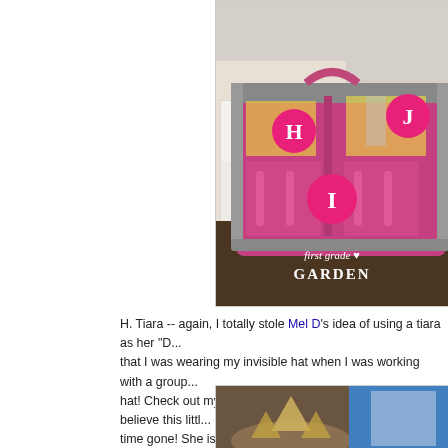[Figure (photo): Pink fabric organizer/caddy with labeled sections H, I, J marked with pink circles, containing school supplies. Watermark reads 'first grade GARDEN' in white text at bottom.]
H. Tiara -- again, I totally stole Mel D's idea of using a tiara as her "D... that I was wearing my invisible hat when I was working with a group... hat! Check out my cutie modelling it for me. Can you believe this litt... time gone! She is now crawling and standing on furniture and on the...
[Figure (photo): Partial view of a bottom photo showing what appears to be a tiara and other items on a surface.]